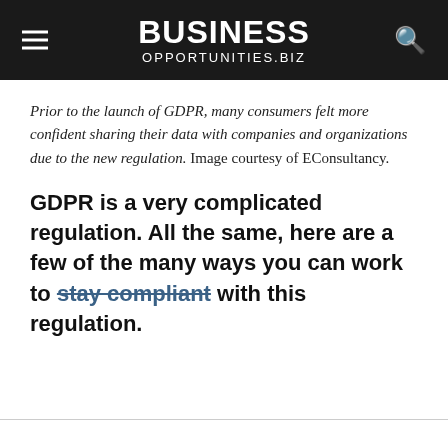BUSINESS OPPORTUNITIES.BIZ
Prior to the launch of GDPR, many consumers felt more confident sharing their data with companies and organizations due to the new regulation. Image courtesy of EConsultancy.
GDPR is a very complicated regulation. All the same, here are a few of the many ways you can work to stay compliant with this regulation.